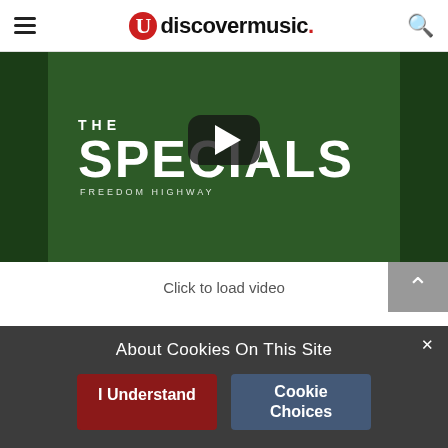udiscovermusic.
[Figure (screenshot): YouTube video thumbnail for The Specials – Freedom Highway, showing band name on green background with play button overlay]
Click to load video
In February 2020, Horace, Terry, Lynval and co-producer Nikolaj Torp Larsen gathered to begin work on a reggae record, the follow up to Encore.
About Cookies On This Site – I Understand | Cookie Choices